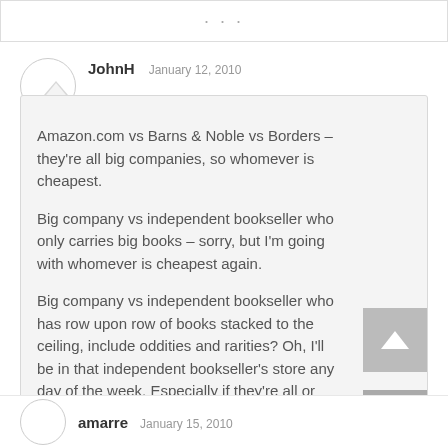JohnH  January 12, 2010
Amazon.com vs Barns & Noble vs Borders – they're all big companies, so whomever is cheapest.
Big company vs independent bookseller who only carries big books – sorry, but I'm going with whomever is cheapest again.
Big company vs independent bookseller who has row upon row of books stacked to the ceiling, include oddities and rarities? Oh, I'll be in that independent bookseller's store any day of the week. Especially if they're all or mostly used books.
amarre  January 15, 2010